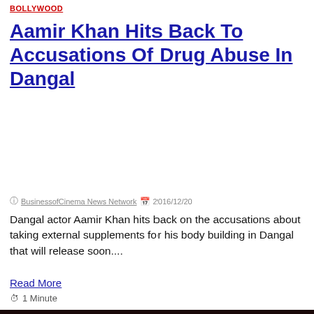BOLLYWOOD
Aamir Khan Hits Back To Accusations Of Drug Abuse In Dangal
BusinessofCinema News Network  2016/12/20
Dangal actor Aamir Khan hits back on the accusations about taking external supplements for his body building in Dangal that will release soon....
Read More
1 Minute
[Figure (photo): Two women photographed at night event — one with long dark hair wearing white top, another with short dark hair wearing glasses and pink jacket.]